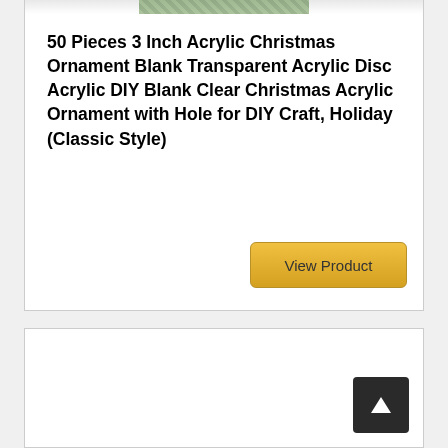[Figure (photo): Partial product image strip at top of card (cropped green foliage/Christmas ornament image)]
50 Pieces 3 Inch Acrylic Christmas Ornament Blank Transparent Acrylic Disc Acrylic DIY Blank Clear Christmas Acrylic Ornament with Hole for DIY Craft, Holiday (Classic Style)
[Figure (screenshot): View Product button - gold/yellow rounded rectangle button with text 'View Product']
[Figure (screenshot): Dark navigation arrow button in bottom-right corner of lower card]